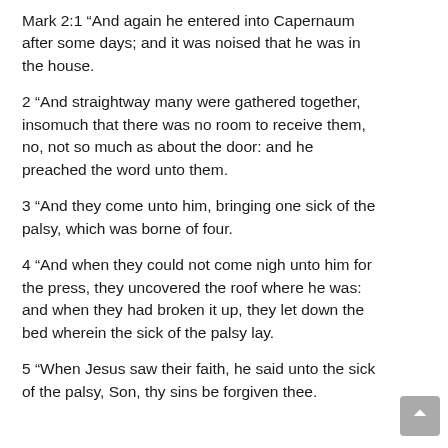Mark 2:1 “And again he entered into Capernaum after some days; and it was noised that he was in the house.
2 “And straightway many were gathered together, insomuch that there was no room to receive them, no, not so much as about the door: and he preached the word unto them.
3 “And they come unto him, bringing one sick of the palsy, which was borne of four.
4 “And when they could not come nigh unto him for the press, they uncovered the roof where he was: and when they had broken it up, they let down the bed wherein the sick of the palsy lay.
5 “When Jesus saw their faith, he said unto the sick of the palsy, Son, thy sins be forgiven thee.